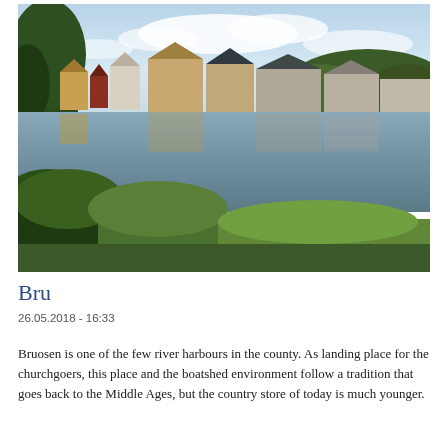[Figure (photo): Photograph of Bru (Bruosen), a river harbour scene showing traditional wooden boatsheds and buildings reflected in calm water, with green vegetation in the foreground and cloudy sky above.]
Bru
26.05.2018 - 16:33
Bruosen is one of the few river harbours in the county. As landing place for the churchgoers, this place and the boatshed environment follow a tradition that goes back to the Middle Ages, but the country store of today is much younger.